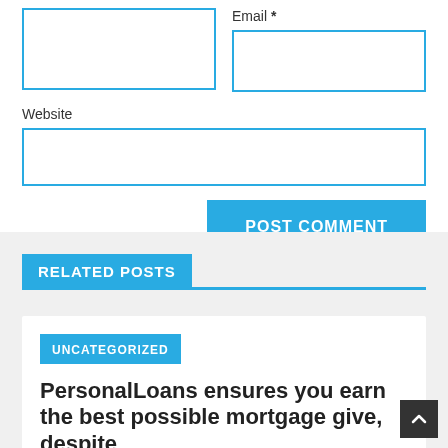[Figure (screenshot): Web form fields: a large text area on the left and an Email field with asterisk on the right, both with blue borders]
Email *
Website
[Figure (screenshot): POST COMMENT button in blue]
RELATED POSTS
UNCATEGORIZED
PersonalLoans ensures you earn the best possible mortgage give, despite